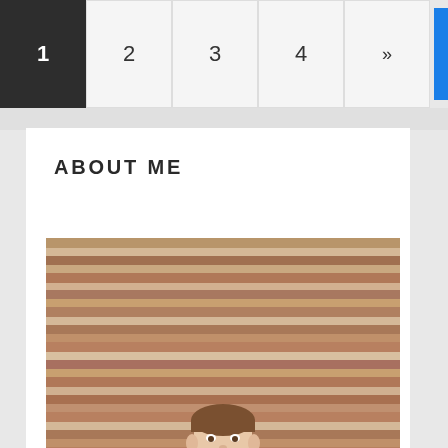1  2  3  4  »
ABOUT ME
[Figure (photo): A young man with short brown hair wearing a bright blue puffer jacket and white t-shirt, standing in front of a corrugated metal wall with rust stains. He has a slight smile and is looking at the camera.]